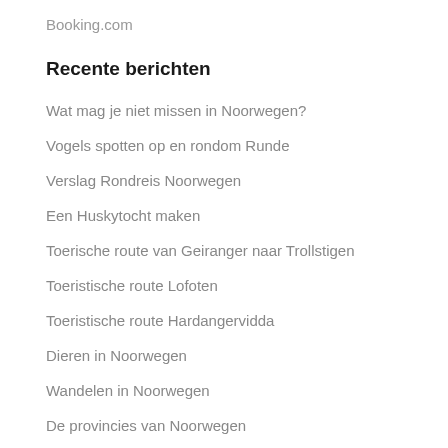Booking.com
Recente berichten
Wat mag je niet missen in Noorwegen?
Vogels spotten op en rondom Runde
Verslag Rondreis Noorwegen
Een Huskytocht maken
Toerische route van Geiranger naar Trollstigen
Toeristische route Lofoten
Toeristische route Hardangervidda
Dieren in Noorwegen
Wandelen in Noorwegen
De provincies van Noorwegen